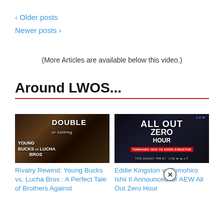‹ Older posts
Newer posts ›
(More Articles are available below this video.)
Around LWOS...
[Figure (photo): Promotional image for Young Bucks vs Lucha Bros at Double or Nothing AEW event]
[Figure (photo): Promotional image for Eddie Kingston vs Tomohiro Ishii AEW All Out Zero Hour event, this Sunday 7PM ET]
Rivalry Rewind: Young Bucks vs. Lucha Bros : A Perfect Tale of Brothers Against
Eddie Kingston vs Tomohiro Ishii II Announced for AEW All Out Zero Hour